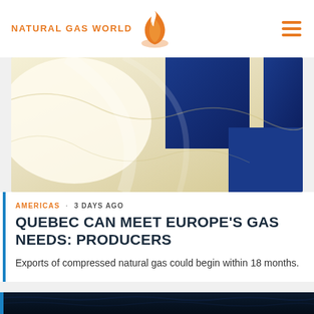NATURAL GAS WORLD
[Figure (photo): Quebec or Finnish flag draped in blue and white/cream tones against a blurred sky background]
AMERICAS · 3 DAYS AGO
QUEBEC CAN MEET EUROPE'S GAS NEEDS: PRODUCERS
Exports of compressed natural gas could begin within 18 months.
[Figure (photo): Dark blue water or ocean surface, partially visible at bottom of page]